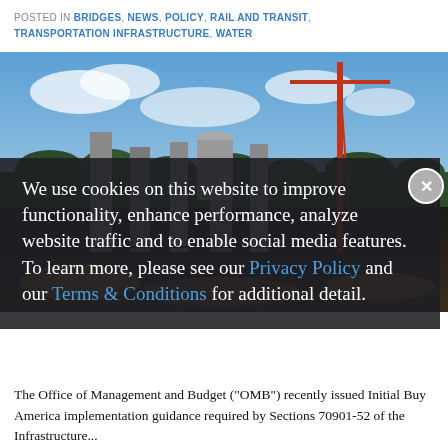POSTED IN BRIDGES, NEWS, POLICY, RAIL AND TRANSIT, TRANSPORTATION INFRASTRUCTURE, WATER
[Figure (photo): Construction site with concrete columns/pillars under a blue sky with crane visible in the background, viewed from ground level with construction materials and dirt in the foreground.]
We use cookies on this website to improve functionality, enhance performance, analyze website traffic and to enable social media features. To learn more, please see our Privacy Policy and our Terms & Conditions for additional detail.
The Office of Management and Budget ("OMB") recently issued Initial Buy America implementation guidance required by Sections 70901-52 of the Infrastructure...